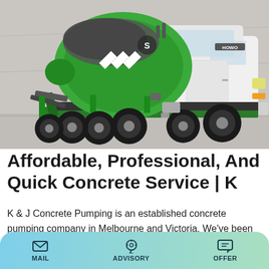[Figure (photo): A green and gray concrete mixer truck (HOWO brand) parked in front of a concrete wall background.]
Affordable, Professional, And Quick Concrete Service | K
K & J Concrete Pumping is an established concrete pumping company in Melbourne and Victoria. We've been providing residents and businesses in the area with high quality concreting and creative designs. Our contractors come highly
MAIL   ADVISORY   OFFER